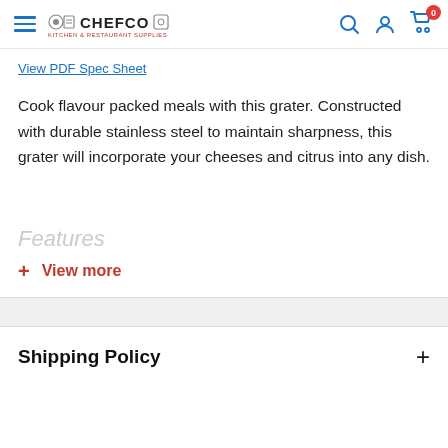CHEFCO Kitchen & Restaurant Supplies
View PDF Spec Sheet
Cook flavour packed meals with this grater. Constructed with durable stainless steel to maintain sharpness, this grater will incorporate your cheeses and citrus into any dish.
Features
+ View more
Shipping Policy